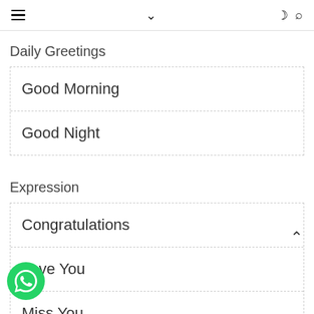☰ ∨ ☾ 🔍
Daily Greetings
Good Morning
Good Night
Expression
Congratulations
Love You
Miss You
Thank You